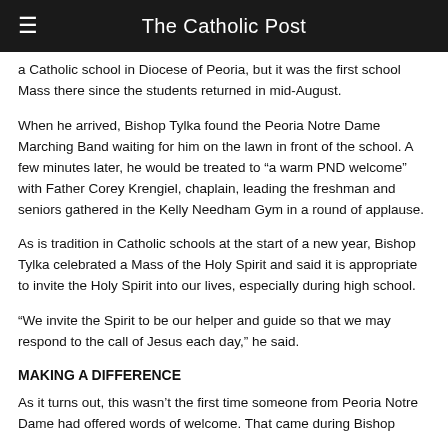The Catholic Post
a Catholic school in Diocese of Peoria, but it was the first school Mass there since the students returned in mid-August.
When he arrived, Bishop Tylka found the Peoria Notre Dame Marching Band waiting for him on the lawn in front of the school. A few minutes later, he would be treated to “a warm PND welcome” with Father Corey Krengiel, chaplain, leading the freshman and seniors gathered in the Kelly Needham Gym in a round of applause.
As is tradition in Catholic schools at the start of a new year, Bishop Tylka celebrated a Mass of the Holy Spirit and said it is appropriate to invite the Holy Spirit into our lives, especially during high school.
“We invite the Spirit to be our helper and guide so that we may respond to the call of Jesus each day,” he said.
MAKING A DIFFERENCE
As it turns out, this wasn’t the first time someone from Peoria Notre Dame had offered words of welcome. That came during Bishop